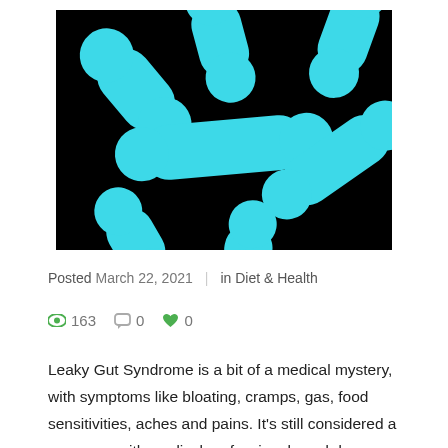[Figure (photo): Microscopic 3D render of cyan/turquoise bacteria on black background]
Posted March 22, 2021  |  in Diet & Health
163  0  0
Leaky Gut Syndrome is a bit of a medical mystery, with symptoms like bloating, cramps, gas, food sensitivities, aches and pains. It's still considered a gray area with medical professionals and deserves a lot